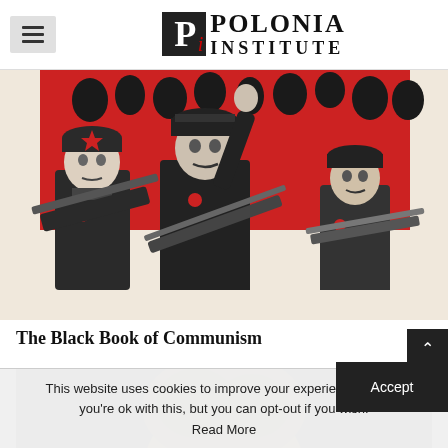Polonia Institute
[Figure (illustration): Woodcut-style propaganda illustration showing three soldiers with rifles in red and black, with a crowd behind them. Communist/revolutionary art style.]
The Black Book of Communism
[Figure (photo): Partial photo of a person, mostly obscured by cookie banner overlay.]
This website uses cookies to improve your experience. We'll a you're ok with this, but you can opt-out if you wish.
Read More